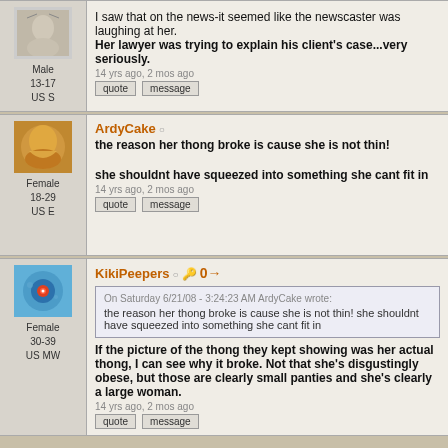I saw that on the news-it seemed like the newscaster was laughing at her. Her lawyer was trying to explain his client's case...very seriously.
14 yrs ago, 2 mos ago
Male 13-17 US S
ArdyCake
the reason her thong broke is cause she is not thin! she shouldnt have squeezed into something she cant fit in
14 yrs ago, 2 mos ago
Female 18-29 US E
KikiPeepers
On Saturday 6/21/08 - 3:24:23 AM ArdyCake wrote: the reason her thong broke is cause she is not thin! she shouldnt have squeezed into something she cant fit in
If the picture of the thong they kept showing was her actual thong, I can see why it broke. Not that she's disgustingly obese, but those are clearly small panties and she's clearly a large woman.
14 yrs ago, 2 mos ago
Female 30-39 US MW